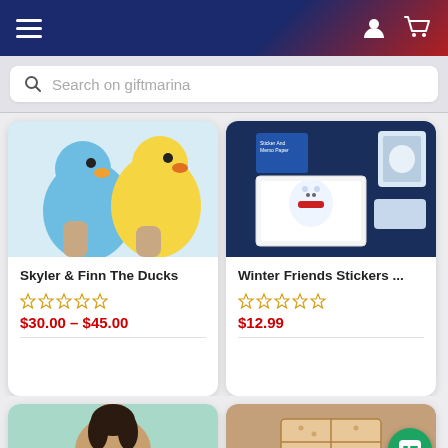Navigation bar with hamburger menu, user icon, and cart icon
Search on giftmarina
[Figure (photo): Child holding large blue and yellow duck plush toys]
Skyler & Finn The Ducks
★★★★★ (empty stars rating)
$30.00 – $45.00
[Figure (photo): Winter Friends Stickers memo paper set in a white container on a blue background]
Winter Friends Stickers ...
★★★★★ (empty stars rating)
$12.99
[Figure (photo): Bottom left: woman with dark hair on teal background]
[Figure (photo): Bottom right: craft/gift box on brown background]